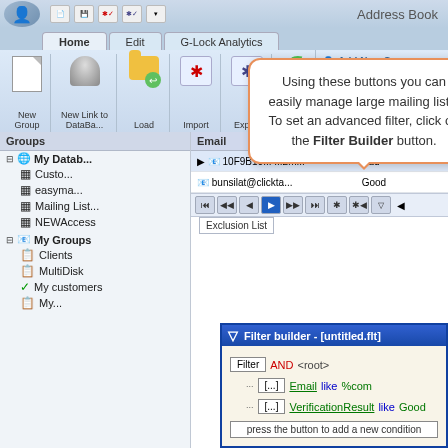[Figure (screenshot): Address Book application screenshot showing ribbon toolbar with Home, Edit, G-Lock Analytics tabs, Groups panel on left with tree structure (My DataBase: Customers, easyma..., Mailing List, NEWAccess; My Groups: Clients, MultiDisk, My customers, My...), and a data grid on the right showing email records with Bad/Good verification statuses. A callout balloon reads: 'Using these buttons you can easily manage large mailing lists. To set an advanced filter, click on the Filter Builder button.' A Filter builder window overlays the bottom showing filter conditions: Email like %com and VerificationResult like Good.]